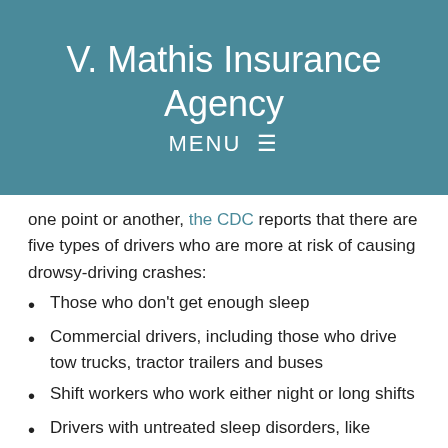V. Mathis Insurance Agency
MENU ☰
one point or another, the CDC reports that there are five types of drivers who are more at risk of causing drowsy-driving crashes:
Those who don't get enough sleep
Commercial drivers, including those who drive tow trucks, tractor trailers and buses
Shift workers who work either night or long shifts
Drivers with untreated sleep disorders, like